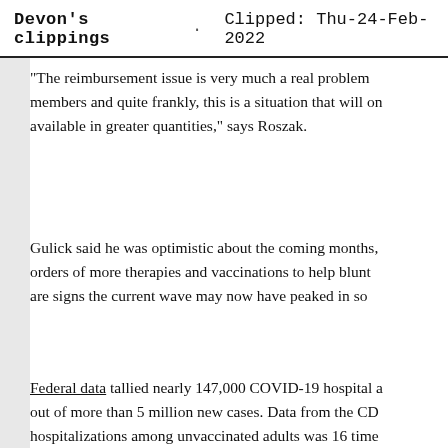Devon's clippings · Clipped: Thu-24-Feb-2022
"The reimbursement issue is very much a real problem members and quite frankly, this is a situation that will only improve once therapies are available in greater quantities," says Roszak.
Gulick said he was optimistic about the coming months, with the government placing orders of more therapies and vaccinations to help blunt the impact, and because there are signs the current wave may now have peaked in some regions.
Federal data tallied nearly 147,000 COVID-19 hospital admissions during January out of more than 5 million new cases. Data from the CDC showed the rate of hospitalizations among unvaccinated adults was 16 times higher compared to those who are vaccinated.
"Maybe we can't prevent every infection. But if we can r